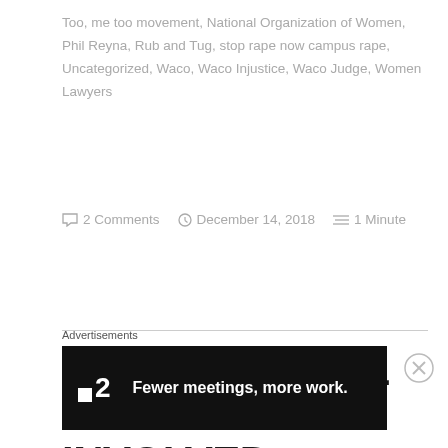Too, me too movement, National Organization of Women, Phil Reyna, Rub and Tug, stop rape now campus rape, Uncategorized, Waco, Waco Injustice, Waco Judge, Women Lawyers
2 Comments   December 14, 2018   1 Minute
CORRUPT DEAL HURTS ALL INVOLVED
Dear Abel Reyna and Hilary LaBorde, You made everyone's life worse with your sweet deal.
Advertisements
[Figure (screenshot): Dark advertisement banner for a product called '2' (shown as a square icon and number) with tagline 'Fewer meetings, more work.' on black background.]